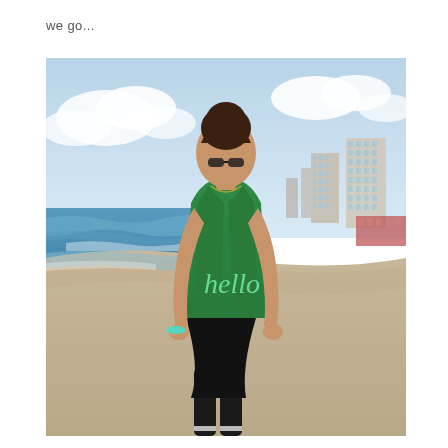we go...
[Figure (photo): A young woman with dark hair in a bun, wearing a green tank top with the word 'hello' written in cursive, and black athletic shorts, standing on a beach. The ocean with waves is visible to the left, sandy beach stretches to the right with coastal buildings in the background, and a partly cloudy blue sky above.]